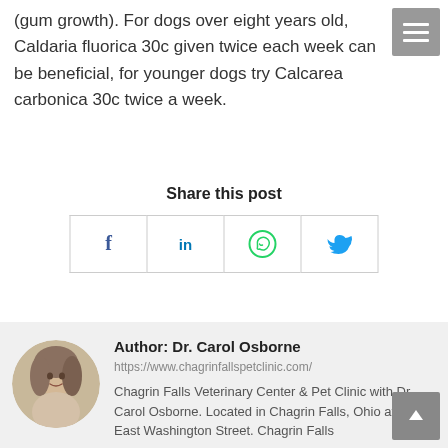(gum growth). For dogs over eight years old, Caldaria fluorica 30c given twice each week can be beneficial, for younger dogs try Calcarea carbonica 30c twice a week.
Share this post
[Figure (infographic): Social share buttons: Facebook, LinkedIn, WhatsApp, Twitter]
[Figure (photo): Circular black and white portrait photo of Dr. Carol Osborne]
Author: Dr. Carol Osborne
https://www.chagrinfallspetclinic.com/
Chagrin Falls Veterinary Center & Pet Clinic with Dr. Carol Osborne. Located in Chagrin Falls, Ohio at 530 East Washington Street. Chagrin Falls